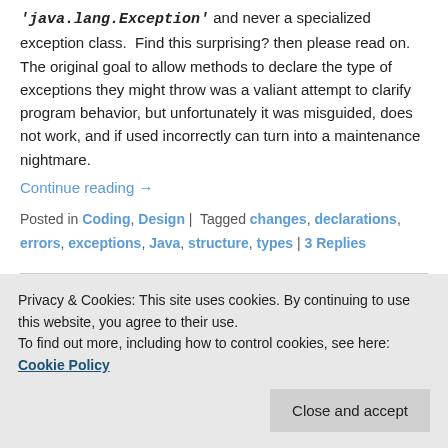'java.lang.Exception' and never a specialized exception class. Find this surprising? then please read on. The original goal to allow methods to declare the type of exceptions they might throw was a valiant attempt to clarify program behavior, but unfortunately it was misguided, does not work, and if used incorrectly can turn into a maintenance nightmare.
Continue reading →
Posted in Coding, Design | Tagged changes, declarations, errors, exceptions, Java, structure, types | 3 Replies
Privacy & Cookies: This site uses cookies. By continuing to use this website, you agree to their use. To find out more, including how to control cookies, see here: Cookie Policy
Close and accept